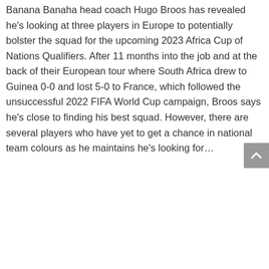Banana Banana head coach Hugo Broos has revealed he's looking at three players in Europe to potentially bolster the squad for the upcoming 2023 Africa Cup of Nations Qualifiers. After 11 months into the job and at the back of their European tour where South Africa drew to Guinea 0-0 and lost 5-0 to France, which followed the unsuccessful 2022 FIFA World Cup campaign, Broos says he's close to finding his best squad. However, there are several players who have yet to get a chance in national team colours as he maintains he's looking for...